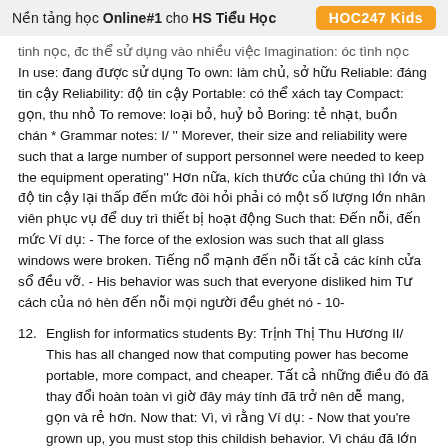Nền tảng học Online#1 cho HS Tiểu Học  HOC247 Kids
tinh nọc, đc thể sử dụng vào nhiều việc Imagination: óc tình nọc In use: đang được sử dụng To own: làm chủ, sở hữu Reliable: đáng tin cậy Reliability: độ tin cậy Portable: có thể xách tay Compact: gọn, thu nhỏ To remove: loại bỏ, huỷ bỏ Boring: tẻ nhạt, buồn chán * Grammar notes: I/ '' Morever, their size and reliability were such that a large number of support personnel were needed to keep the equipment operating'' Hơn nữa, kích thước của chúng thì lớn và độ tin cậy lại thấp đến mức đòi hỏi phải có một số lượng lớn nhân viên phục vụ để duy trì thiết bị hoạt động Such that: Đến nỗi, đến mức Ví dụ: - The force of the exlosion was such that all glass windows were broken. Tiếng nổ mạnh đến nỗi tất cả các kính cửa sổ đều vỡ. - His behavior was such that everyone disliked him Tư cách của nó hèn đến nỗi mọi người đều ghét nó - 10-
12. English for informatics students By: Trịnh Thị Thu Hương II/ This has all changed now that computing power has become portable, more compact, and cheaper. Tất cả những điều đó đã thay đổi hoàn toàn vì giờ đây máy tính đã trở nên dễ mang, gọn và rẻ hơn. Now that: Vì, vì rằng Ví dụ: - Now that you're grown up, you must stop this childish behavior. Vì cháu đã lớn rồi, cháu phải bỏ lối cư xử trẻ con đó đi - Now that the fog melted away, they hurried off. Vì sương mù đã tan, họ vội vàng ra đi * Exercises: 1. Main ideas Which statement or statements best represent the main idea of the text? Mr. did not realize the potential